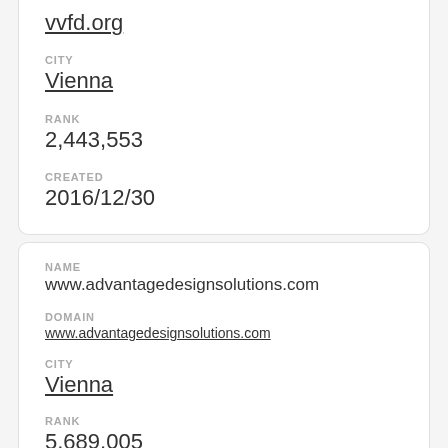vvfd.org
CITY
Vienna
RANK
2,443,553
CREATED
2016/12/30
NAME
www.advantagedesignsolutions.com
DOMAIN
www.advantagedesignsolutions.com
CITY
Vienna
RANK
5,689,005
CREATED